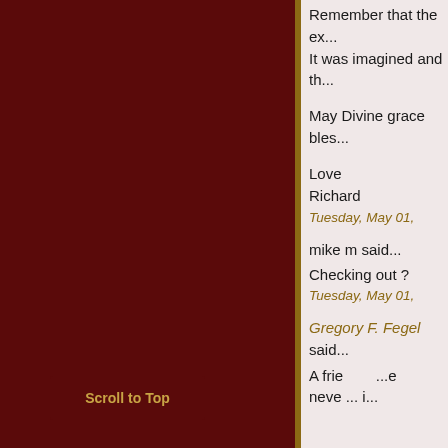Remember that the ex... It was imagined and th...
May Divine grace bles...
Love
Richard
Tuesday, May 01,
mike m said...
Checking out ?
Tuesday, May 01,
Gregory F. Fegel said...
A friend... never... i...